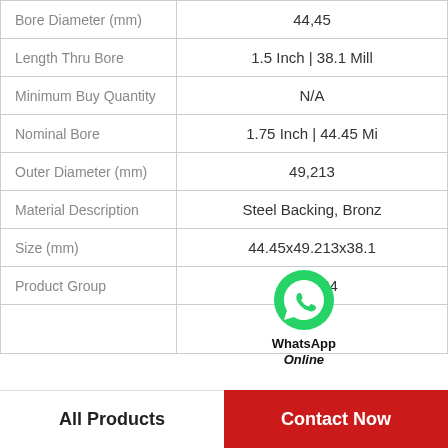| Property | Value |
| --- | --- |
| Bore Diameter (mm) | 44,45 |
| Length Thru Bore | 1.5 Inch | 38.1 Mill |
| Minimum Buy Quantity | N/A |
| Nominal Bore | 1.75 Inch | 44.45 Mi |
| Outer Diameter (mm) | 49,213 |
| Material Description | Steel Backing, Bronz |
| Size (mm) | 44.45x49.213x38.1 |
| Product Group | B04264 |
[Figure (logo): WhatsApp Online button with green phone icon]
All Products  |  Contact Now